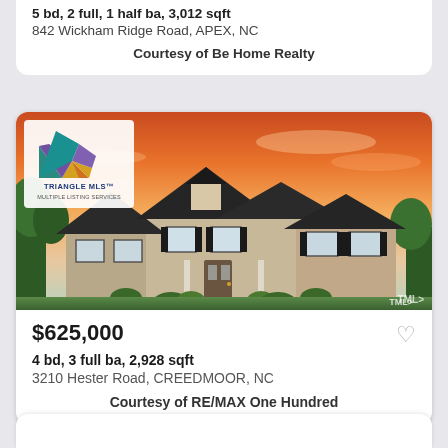5 bd, 2 full, 1 half ba, 3,012 sqft
842 Wickham Ridge Road, APEX, NC
Courtesy of Be Home Realty
[Figure (photo): Two-story craftsman brick house with sunset sky, Triangle MLS logo overlay in top-left corner]
$625,000
4 bd, 3 full ba, 2,928 sqft
3210 Hester Road, CREEDMOOR, NC
Courtesy of RE/MAX One Hundred